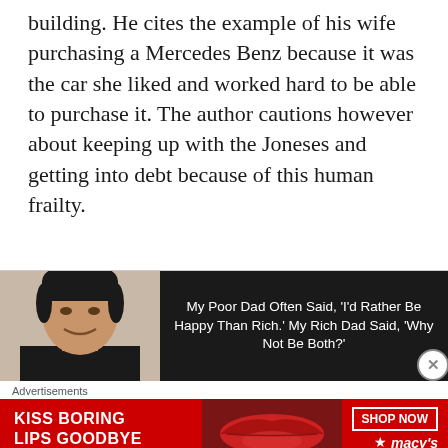building. He cites the example of his wife purchasing a Mercedes Benz because it was the car she liked and worked hard to be able to purchase it. The author cautions however about keeping up with the Joneses and getting into debt because of this human frailty.
[Figure (other): Advertisement banner with a photo of a man (Robert Kiyosaki) on the left and a dark background with text on the right reading: My Poor Dad Often Said, 'I'd Rather Be Happy Than Rich.' My Rich Dad Said, 'Why Not Be Both?']
Advertisements
[Figure (other): Macy's advertisement with red background showing 'KISS BORING LIPS GOODBYE' with a SHOP NOW button and Macy's star logo]